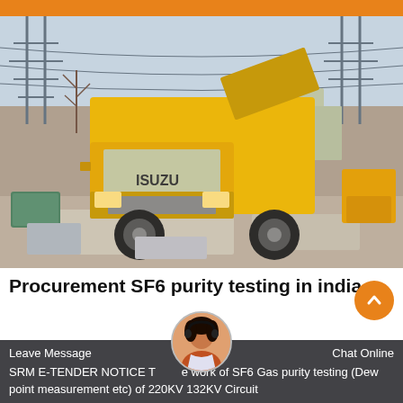[Figure (photo): A yellow Isuzu truck parked at an electrical substation with power line towers and equipment in the background. Construction/utility site setting.]
Procurement SF6 purity testing in india
SRM E-TENDER NOTICE The work of SF6 Gas purity testing (Dew point measurement etc) of 220KV 132KV Circuit
Leave Message   Chat Online